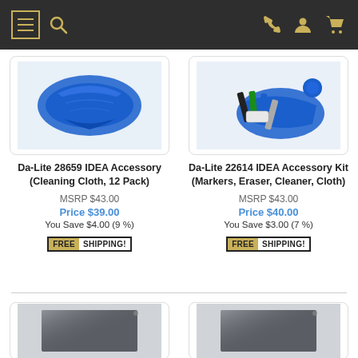Navigation bar with menu, search, phone, account, and cart icons
[Figure (photo): Blue cleaning cloth folded, product image for Da-Lite 28659]
[Figure (photo): Accessory kit with markers, eraser, cleaner, cloth for Da-Lite 22614]
Da-Lite 28659 IDEA Accessory (Cleaning Cloth, 12 Pack)
Da-Lite 22614 IDEA Accessory Kit (Markers, Eraser, Cleaner, Cloth)
MSRP $43.00
Price $39.00
You Save $4.00 (9 %)
MSRP $43.00
Price $40.00
You Save $3.00 (7 %)
FREE SHIPPING!
FREE SHIPPING!
[Figure (photo): Dark grey panel product image, bottom left]
[Figure (photo): Dark grey panel product image, bottom right]